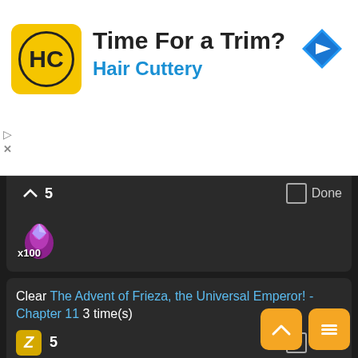[Figure (screenshot): Ad banner for Hair Cuttery with yellow logo, headline 'Time For a Trim?' and blue navigation arrow icon]
5   Done
[Figure (illustration): Purple crystal with flame icon, labeled x100]
Clear The Advent of Frieza, the Universal Emperor! - Chapter 11 3 time(s)
5   Done
[Figure (illustration): Purple crystal with flame icon, labeled x100]
Clear The Advent of Frieza, the Universal Emperor! - Chapter 12 3 time(s)